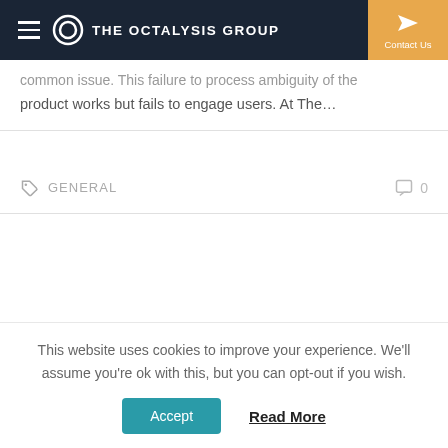THE OCTALYSIS GROUP | Contact Us
...common issue. This failure to process ambiguity the product works but fails to engage users. At The...
GENERAL  0
Previous  1  2  3  4  Next
MOST POPULAR
This website uses cookies to improve your experience. We'll assume you're ok with this, but you can opt-out if you wish. Accept  Read More